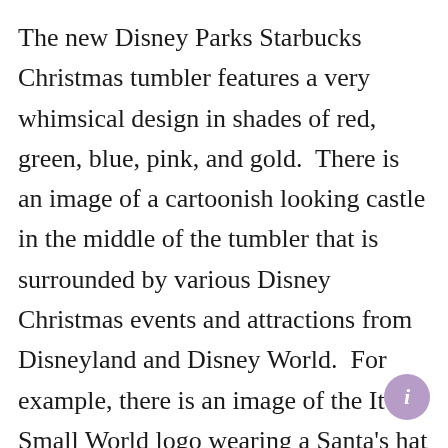The new Disney Parks Starbucks Christmas tumbler features a very whimsical design in shades of red, green, blue, pink, and gold.  There is an image of a cartoonish looking castle in the middle of the tumbler that is surrounded by various Disney Christmas events and attractions from Disneyland and Disney World.  For example, there is an image of the It's a Small World logo wearing a Santa's hat to represent the holiday overlay of the ride on the west coast and an image of the Animal Kingdom Christmas tree to represent the east coast.  I also spy the Jingle Cruise, the Candlelight Processional, gingerbread men, and Mickey! The tumbler even has